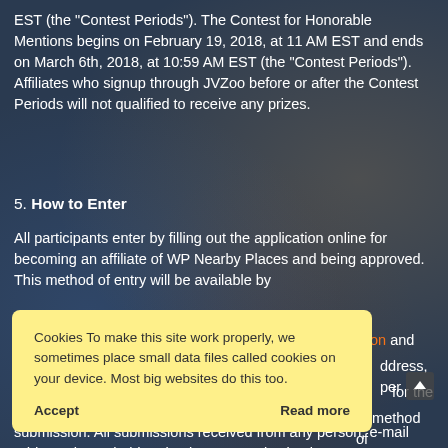EST (the "Contest Periods"). The Contest for Honorable Mentions begins on February 19, 2018, at 11 AM EST and ends on March 6th, 2018, at 10:59 AM EST (the "Contest Periods"). Affiliates who signup through JVZoo before or after the Contest Periods will not qualified to receive any prizes.
5. How to Enter
All participants enter by filling out the application online for becoming an affiliate of WP Nearby Places and being approved. This method of entry will be available by [link] on and [partially obscured] ddress, per [partially obscured] for the [partially obscured] of method of submission. All submissions received from any person, e-mail address, household, or business organization in
Cookies To make this site work properly, we sometimes place small data files called cookies on your device. Most big websites do this too.
Accept
Read more